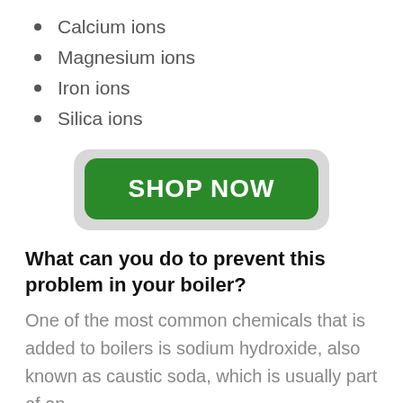Calcium ions
Magnesium ions
Iron ions
Silica ions
[Figure (other): A green 'SHOP NOW' button with rounded corners on a light grey background]
What can you do to prevent this problem in your boiler?
One of the most common chemicals that is added to boilers is sodium hydroxide, also known as caustic soda, which is usually part of an